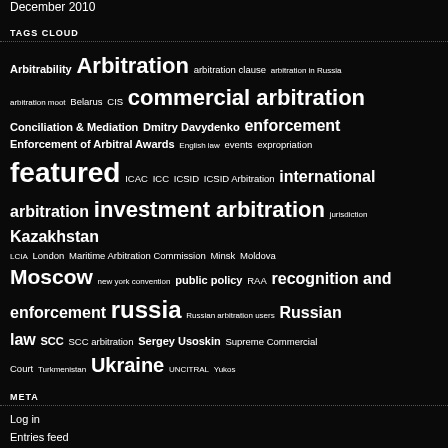December 2010
TAGS CLOUD
[Figure (infographic): Tags cloud with legal/arbitration terms in varying font sizes on dark background. Terms include: Arbitrability, Arbitration, arbitration clause, arbitration in Russia, arbitration moot, Belarus, CIS, commercial arbitration, Conciliation & Mediation, Dmitry Davydenko, enforcement, Enforcement of Arbitral Awards, English law, events, expropriation, featured, ICAC, ICC, ICSID, ICSID Arbitration, international arbitration, investment arbitration, jurisdiction, Kazakhstan, LCIA, London, Maritime Arbitration Commission, Minsk, Moldova, Moscow, new york convention, public policy, RAA, recognition and enforcement, russia, Russian arbitration users, Russian law, SCC, SCC arbitration, Sergey Usoskin, Supreme Commercial Court, Turkmenistan, Ukraine, UNCITRAL, Yukos]
META
Log in
Entries feed